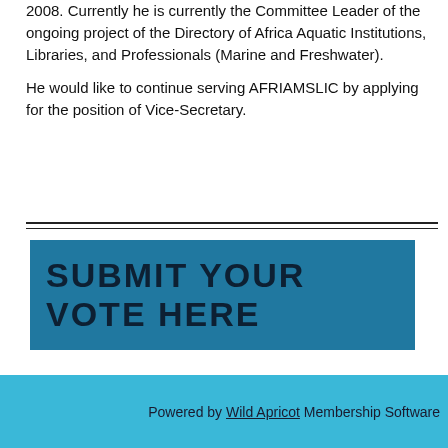2008.  Currently he is currently the Committee Leader of the ongoing project of the Directory of Africa Aquatic Institutions, Libraries, and Professionals (Marine and Freshwater).

He would like to continue serving AFRIAMSLIC by applying for the position of Vice-Secretary.
[Figure (other): A teal/blue rectangular button with text 'SUBMIT YOUR VOTE HERE']
Powered by Wild Apricot Membership Software